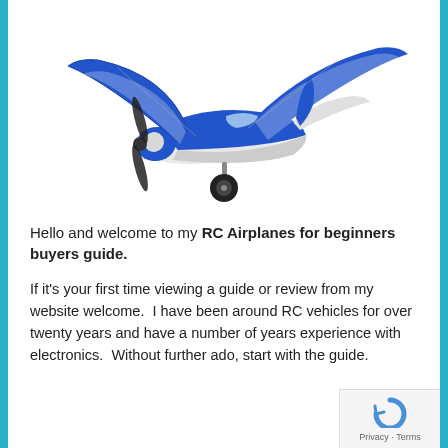[Figure (photo): Blue and white RC airplane model (sport/Cub style) with black propeller, viewed from a three-quarter front angle against white background]
Hello and welcome to my RC Airplanes for beginners buyers guide.
If it's your first time viewing a guide or review from my website welcome.  I have been around RC vehicles for over twenty years and have a number of years experience with electronics.  Without further ado, start with the guide.